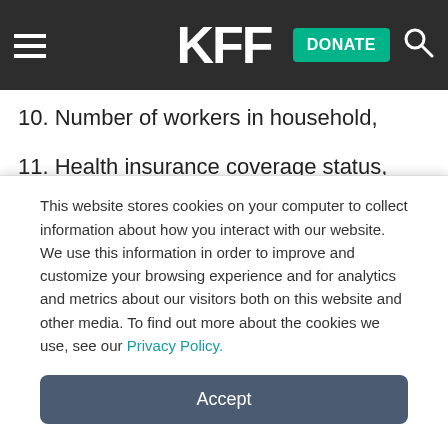KFF
10. Number of workers in household,
11. Health insurance coverage status,
12. Ethnicity, and
13. Age.
The regression model was sub-populated to remove respondents who could not be
This website stores cookies on your computer to collect information about how you interact with our website. We use this information in order to improve and customize your browsing experience and for analytics and metrics about our visitors both on this website and other media. To find out more about the cookies we use, see our Privacy Policy.
Accept